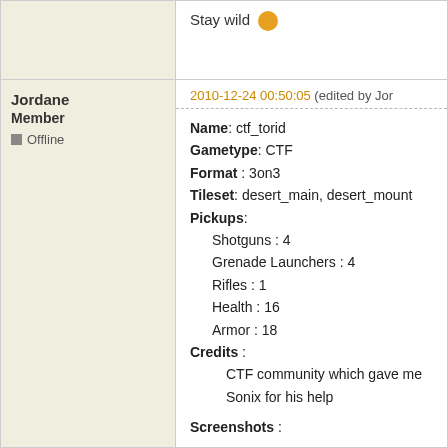Stay wild 😊
Jordane
Member
Offline
2010-12-24 00:50:05 (edited by Jor...
Name: ctf_torid
Gametype: CTF
Format : 3on3
Tileset: desert_main, desert_mount...
Pickups:
  Shotguns : 4
  Grenade Launchers : 4
  Rifles : 1
  Health : 16
  Armor : 18
Credits :
  CTF community which gave me...
  Sonix for his help

Screenshots :
[img]http://img802.imageshack.us/img...
[img]http://img42.imageshack.us/img4...